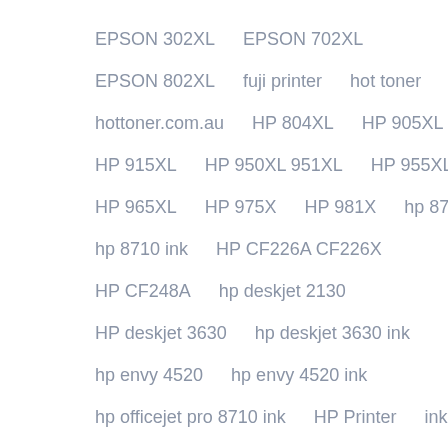EPSON 302XL
EPSON 702XL
EPSON 802XL
fuji printer
hot toner
hottoner.com.au
HP 804XL
HP 905XL
HP 915XL
HP 950XL 951XL
HP 955XL
HP 965XL
HP 975X
HP 981X
hp 8710
hp 8710 ink
HP CF226A CF226X
HP CF248A
hp deskjet 2130
HP deskjet 3630
hp deskjet 3630 ink
hp envy 4520
hp envy 4520 ink
hp officejet pro 8710 ink
HP Printer
ink
ink and toner
Ink Cartridge